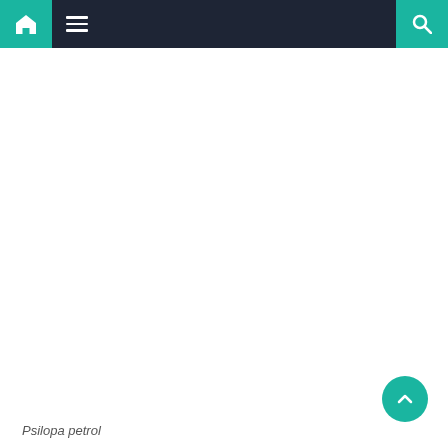[Figure (screenshot): Navigation bar with teal home icon button on left, dark navy center section with hamburger menu icon, and teal search icon button on right]
[Figure (other): Teal circular scroll-to-top button with upward chevron arrow]
Psilopa petrol